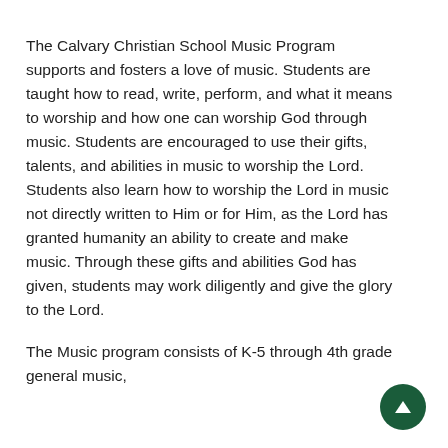The Calvary Christian School Music Program supports and fosters a love of music. Students are taught how to read, write, perform, and what it means to worship and how one can worship God through music. Students are encouraged to use their gifts, talents, and abilities in music to worship the Lord. Students also learn how to worship the Lord in music not directly written to Him or for Him, as the Lord has granted humanity an ability to create and make music. Through these gifts and abilities God has given, students may work diligently and give the glory to the Lord.
The Music program consists of K-5 through 4th grade general music,